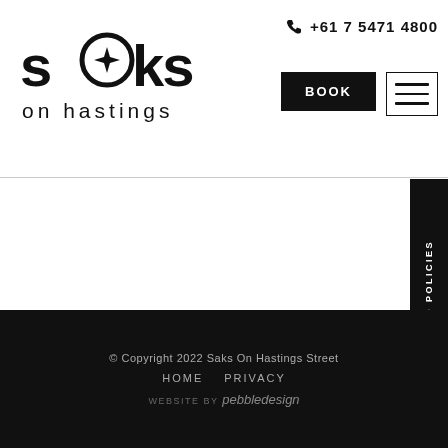[Figure (logo): Saks on Hastings logo - stylized text with star/compass in the letter 'o' of 'saks', subtitle 'on hastings']
+61 7 5471 4800
BOOK
[Figure (other): Hamburger menu icon - three horizontal lines]
COVID-19 POLICIES
© Copyright 2022 Saks On Hastings Street  HOME  PRIVACY  WEBSITE BY pebbledesign